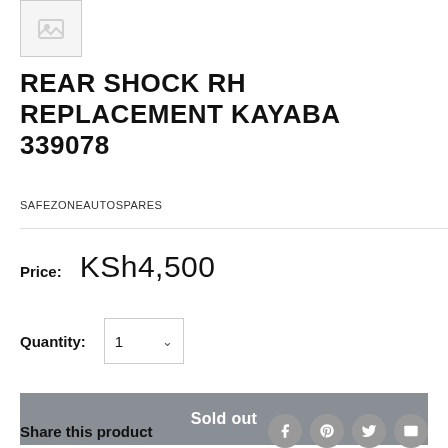[Figure (photo): Small thumbnail image placeholder box with a faint product image icon]
REAR SHOCK RH REPLACEMENT KAYABA 339078
SAFEZONEAUTOSPARES
Price: KSh4,500
Quantity: 1
Sold out
Share this product